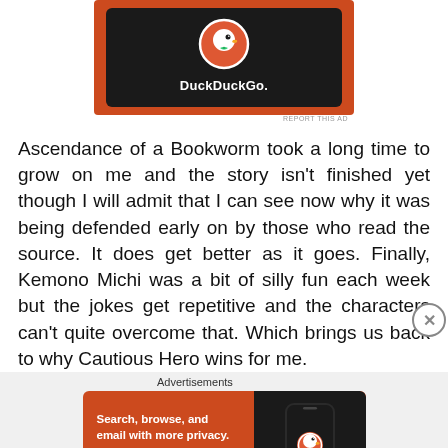[Figure (logo): DuckDuckGo advertisement banner with orange background, dark phone mockup showing DuckDuckGo logo (white duck in orange circle) and DuckDuckGo. text in white]
REPORT THIS AD
Ascendance of a Bookworm took a long time to grow on me and the story isn’t finished yet though I will admit that I can see now why it was being defended early on by those who read the source. It does get better as it goes. Finally, Kemono Michi was a bit of silly fun each week but the jokes get repetitive and the characters can’t quite overcome that. Which brings us back to why Cautious Hero wins for me.
Advertisements
[Figure (screenshot): DuckDuckGo advertisement: orange background with text ‘Search, browse, and email with more privacy.’ and ‘All in One Free App’ button, alongside dark phone mockup with DuckDuckGo logo and DuckDuckGo. text]
REPORT THIS AD